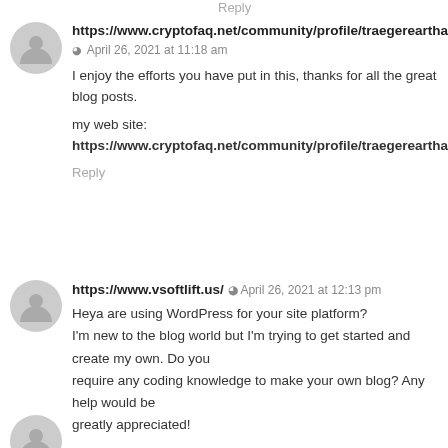Reply
https://www.cryptofaq.net/community/profile/traegerearthа
April 26, 2021 at 11:18 am
I enjoy the efforts you have put in this, thanks for all the great blog posts.
my web site:
https://www.cryptofaq.net/community/profile/traegerearthа
Reply
https://www.vsoftlift.us/
April 26, 2021 at 12:13 pm
Heya are using WordPress for your site platform? I'm new to the blog world but I'm trying to get started and create my own. Do you require any coding knowledge to make your own blog? Any help would be greatly appreciated!
Also visit my webpage https://www.vsoftlift.us/
Reply